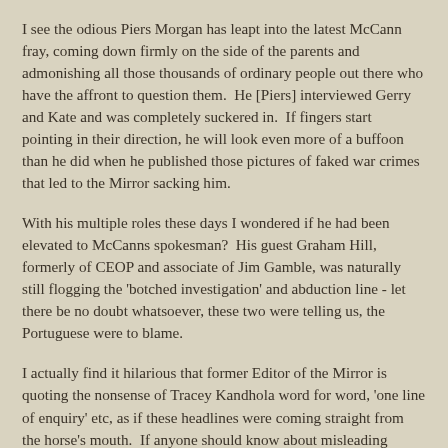I see the odious Piers Morgan has leapt into the latest McCann fray, coming down firmly on the side of the parents and admonishing all those thousands of ordinary people out there who have the affront to question them.  He [Piers] interviewed Gerry and Kate and was completely suckered in.  If fingers start pointing in their direction, he will look even more of a buffoon than he did when he published those pictures of faked war crimes that led to the Mirror sacking him.
With his multiple roles these days I wondered if he had been elevated to McCanns spokesman?  His guest Graham Hill, formerly of CEOP and associate of Jim Gamble, was naturally still flogging the 'botched investigation' and abduction line - let there be no doubt whatsoever, these two were telling us, the Portuguese were to blame.
I actually find it hilarious that former Editor of the Mirror is quoting the nonsense of Tracey Kandhola word for word, 'one line of enquiry' etc, as if these headlines were coming straight from the horse's mouth.  If anyone should know about misleading headlines and misleading front pages, then Piers is your man!